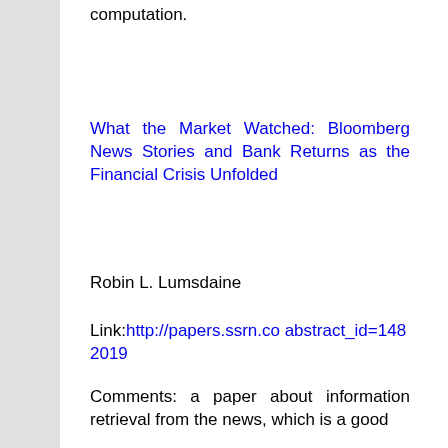computation.
What the Market Watched: Bloomberg News Stories and Bank Returns as the Financial Crisis Unfolded
Robin L. Lumsdaine
Link: http://papers.ssrn.co abstract_id=1482019
Comments: a paper about information retrieval from the news, which is a good